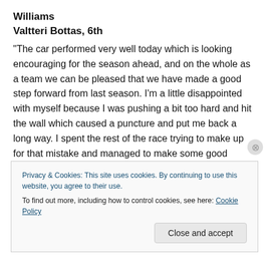Williams
Valtteri Bottas, 6th
“The car performed very well today which is looking encouraging for the season ahead, and on the whole as a team we can be pleased that we have made a good step forward from last season. I’m a little disappointed with myself because I was pushing a bit too hard and hit the wall which caused a puncture and put me back a long way. I spent the rest of the race trying to make up for that mistake and managed to make some good overtakes, but
Privacy & Cookies: This site uses cookies. By continuing to use this website, you agree to their use.
To find out more, including how to control cookies, see here: Cookie Policy